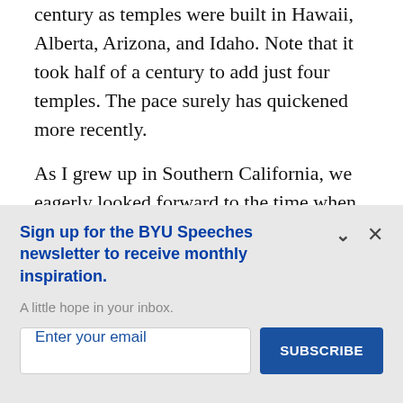century as temples were built in Hawaii, Alberta, Arizona, and Idaho. Note that it took half of a century to add just four temples. The pace surely has quickened more recently.
As I grew up in Southern California, we eagerly looked forward to the time when we would have a temple there. The annual stake
Sign up for the BYU Speeches newsletter to receive monthly inspiration.
A little hope in your inbox.
Enter your email
SUBSCRIBE